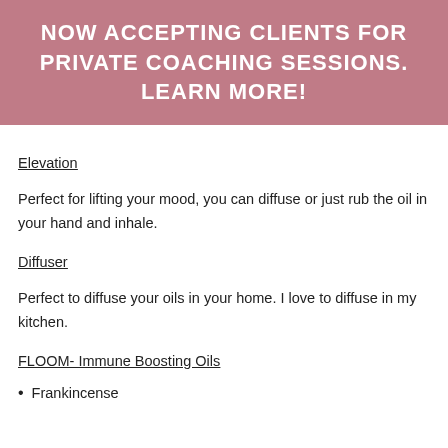NOW ACCEPTING CLIENTS FOR PRIVATE COACHING SESSIONS. LEARN MORE!
Elevation
Perfect for lifting your mood, you can diffuse or just rub the oil in your hand and inhale.
Diffuser
Perfect to diffuse your oils in your home. I love to diffuse in my kitchen.
FLOOM- Immune Boosting Oils
Frankincense